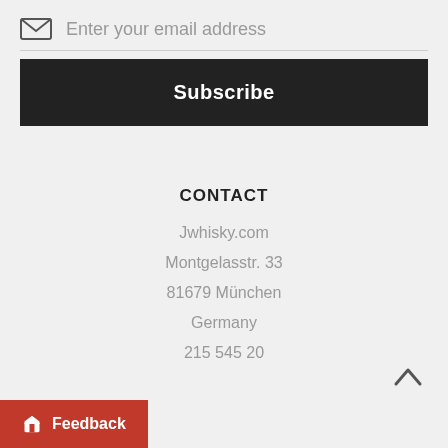Enter your email address
Subscribe
CONTACT
Jwhisky.com
Montgelasstr. 33
81679 München
Germany
215 545 20
Feedback